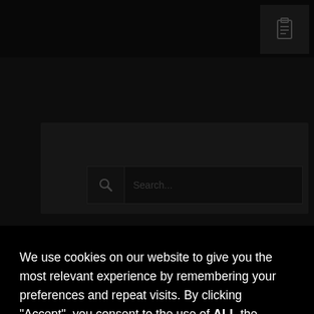[Figure (screenshot): Dark-themed website UI with clipboard icon and search bar in background, partially obscured by cookie consent modal]
We use cookies on our website to give you the most relevant experience by remembering your preferences and repeat visits. By clicking “Accept”, you consent to the use of ALL the cookies.
Cookie settings
ACCEPT
Fatigue